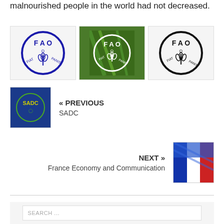malnourished people in the world had not decreased.
[Figure (logo): Three FAO (Food and Agriculture Organization) logos side by side. First: blue circle FAO logo with text FIAT PANIS. Second: white FAO logo overlaid on a green wheat/grain field photo. Third: black and white FAO logo with text FIAT PANIS.]
« PREVIOUS
SADC
[Figure (logo): SADC logo - dark blue square with green and yellow circular text SADC]
NEXT »
France Economy and Communication
[Figure (photo): France flag thumbnail - blue, white, red vertical stripes with diagonal blue pattern]
SEARCH ...